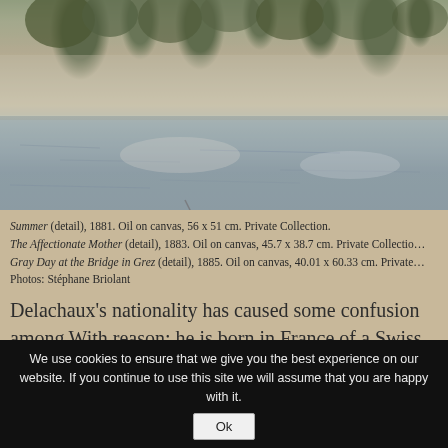[Figure (illustration): Impressionist painting detail showing a landscape with trees and water reflections, muted greens, blues and earth tones]
Summer (detail), 1881. Oil on canvas, 56 x 51 cm. Private Collection.
The Affectionate Mother (detail), 1883. Oil on canvas, 45.7 x 38.7 cm. Private Collection.
Gray Day at the Bridge in Grez (detail), 1885. Oil on canvas, 40.01 x 60.33 cm. Private Collection.
Photos: Stéphane Briolant
Delachaux's nationality has caused some confusion among... With reason: he is born in France of a Swiss father, becomes a naturalized American in 1883 and in 1907 reco... while retaining the inalienable rights to his Swiss national...
In 1900, Delachaux buys a beautiful home with an art stu... a small town in central France, where he spends the last tw... However, he continues to journey into the French countrys...
We use cookies to ensure that we give you the best experience on our website. If you continue to use this site we will assume that you are happy with it.